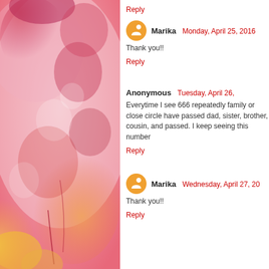[Figure (illustration): Watercolor painting with pink, red, orange, and yellow floral/abstract shapes on the left half of the page]
Reply
Marika  Monday, April 25, 2016
Thank you!!
Reply
Anonymous  Tuesday, April 26,
Everytime I see 666 repeatedly family or close circle have passed dad, sister, brother, cousin, and passed. I keep seeing this number
Reply
Marika  Wednesday, April 27, 20
Thank you!!
Reply